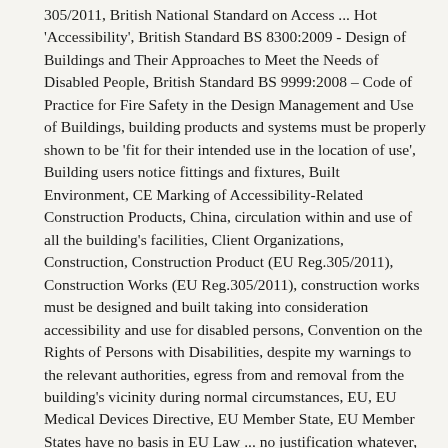305/2011, British National Standard on Access ... Hot 'Accessibility', British Standard BS 8300:2009 - Design of Buildings and Their Approaches to Meet the Needs of Disabled People, British Standard BS 9999:2008 – Code of Practice for Fire Safety in the Design Management and Use of Buildings, building products and systems must be properly shown to be 'fit for their intended use in the location of use', Building users notice fittings and fixtures, Built Environment, CE Marking of Accessibility-Related Construction Products, China, circulation within and use of all the building's facilities, Client Organizations, Construction, Construction Product (EU Reg.305/2011), Construction Works (EU Reg.305/2011), construction works must be designed and built taking into consideration accessibility and use for disabled persons, Convention on the Rights of Persons with Disabilities, despite my warnings to the relevant authorities, egress from and removal from the building's vicinity during normal circumstances, EU, EU Medical Devices Directive, EU Member State, EU Member States have no basis in EU Law ... no justification whatever, European Economic Area, European Parliament, european union, European Union Member State, European Union Regulation No.305/2011 of the European Parliament and of the Council of 9 March 2011 laying down Harmonized Conditions for the Marketing of Construction Products and Repealing Council D, evacuation in the event of an emergency and movement - via a safe and accessible route - to a